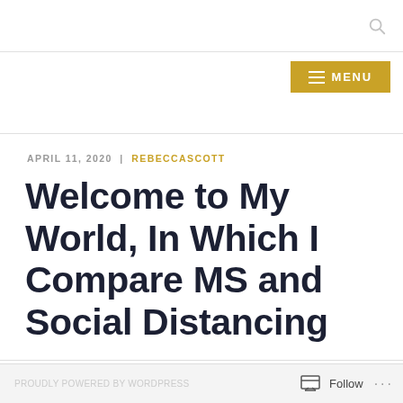APRIL 11, 2020 | REBECCASCOTT
Welcome to My World, In Which I Compare MS and Social Distancing
Follow